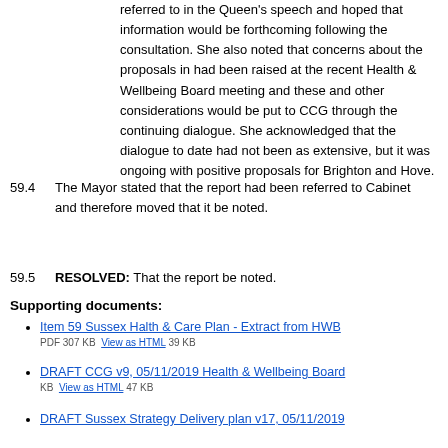referred to in the Queen's speech and hoped that information would be forthcoming following the consultation. She also noted that concerns about the proposals in had been raised at the recent Health & Wellbeing Board meeting and these and other considerations would be put to CCG through the continuing dialogue. She acknowledged that the dialogue to date had not been as extensive, but it was ongoing with positive proposals for Brighton and Hove.
59.4    The Mayor stated that the report had been referred to Cabinet and therefore moved that it be noted.
59.5    RESOLVED: That the report be noted.
Supporting documents:
Item 59 Sussex Halth & Care Plan - Extract from HWB PDF 307 KB   View as HTML 39 KB
DRAFT CCG v9, 05/11/2019 Health & Wellbeing Board KB   View as HTML 47 KB
DRAFT Sussex Strategy Delivery plan v17, 05/11/2019